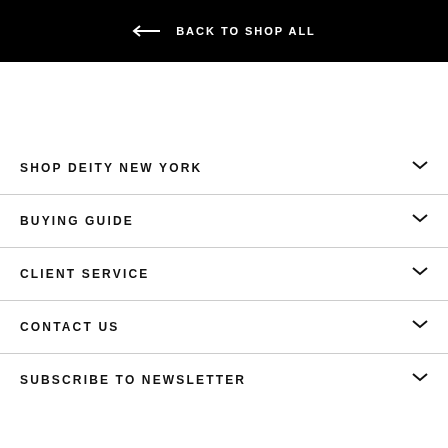← BACK TO SHOP ALL
SHOP DEITY NEW YORK
BUYING GUIDE
CLIENT SERVICE
CONTACT US
SUBSCRIBE TO NEWSLETTER